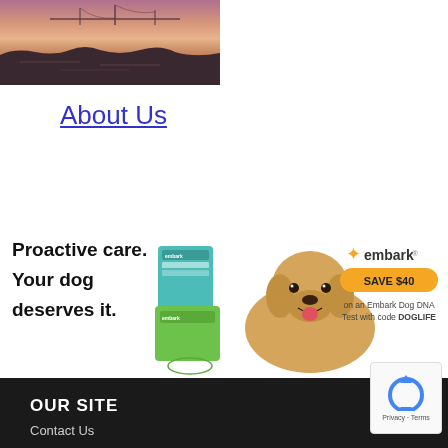[Figure (photo): Landscape/waterfront photo with pink/purple sunset sky and rocky shoreline, cropped view]
About Us
[Figure (photo): Embark dog DNA test advertisement banner. Left side: 'Proactive care. Your dog deserves it.' in bold black text. Center: product boxes and a golden retriever dog. Right: Embark logo with 'SAVE $40' yellow pill button and text 'on an Embark Dog DNA Test with code DOGLIFE']
OUR SITE
Contact Us